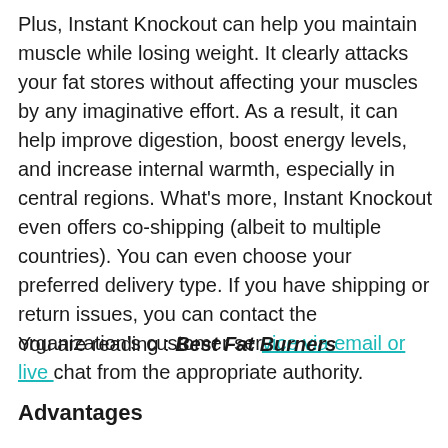Plus, Instant Knockout can help you maintain muscle while losing weight. It clearly attacks your fat stores without affecting your muscles by any imaginative effort. As a result, it can help improve digestion, boost energy levels, and increase internal warmth, especially in central regions. What's more, Instant Knockout even offers co-shipping (albeit to multiple countries). You can even choose your preferred delivery type. If you have shipping or return issues, you can contact the organization's customer service via email or live chat from the appropriate authority.
You are reading : Best Fat Burners
Advantages